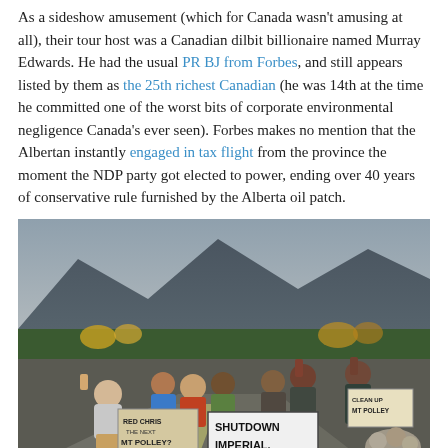As a sideshow amusement (which for Canada wasn't amusing at all), their tour host was a Canadian dilbit billionaire named Murray Edwards. He had the usual PR BJ from Forbes, and still appears listed by them as the 25th richest Canadian (he was 14th at the time he committed one of the worst bits of corporate environmental negligence Canada's ever seen). Forbes makes no mention that the Albertan instantly engaged in tax flight from the province the moment the NDP party got elected to power, ending over 40 years of conservative rule furnished by the Alberta oil patch.
[Figure (photo): Group of protesters outdoors on a road with mountains and trees in background. Several people holding signs reading 'RED CHRIS THE NEXT MT POLLEY?', 'SHUTDOWN IMPERIAL.', and 'CLEAN UP MT POLLEY'. Some people have fists raised. A small campfire with rocks around it is in the foreground.]